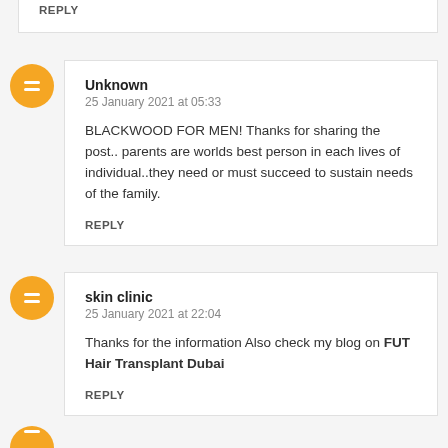REPLY
Unknown
25 January 2021 at 05:33
BLACKWOOD FOR MEN! Thanks for sharing the post.. parents are worlds best person in each lives of individual..they need or must succeed to sustain needs of the family.
REPLY
skin clinic
25 January 2021 at 22:04
Thanks for the information Also check my blog on FUT Hair Transplant Dubai
REPLY